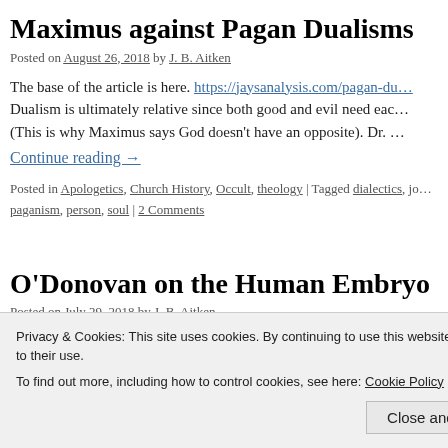Maximus against Pagan Dualisms
Posted on August 26, 2018 by J. B. Aitken
The base of the article is here. https://jaysanalysis.com/pagan-du… Dualism is ultimately relative since both good and evil need each other. (This is why Maximus says God doesn’t have an opposite). Dr. …
Continue reading →
Posted in Apologetics, Church History, Occult, theology | Tagged dialectics, jo… paganism, person, soul | 2 Comments
O’Donovan on the Human Embryo
Posted on July 29, 2018 by J. B. Aitken
Privacy & Cookies: This site uses cookies. By continuing to use this website, you agree to their use. To find out more, including how to control cookies, see here: Cookie Policy
Close and accept